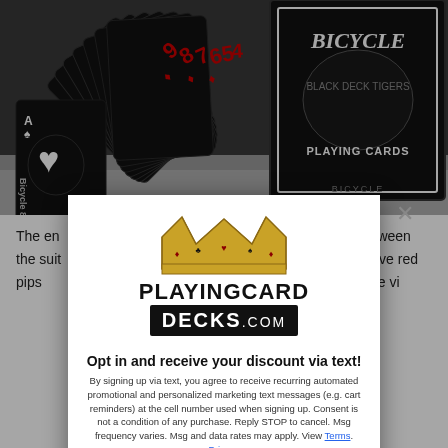[Figure (photo): Photo of black Bicycle playing cards fanned out with red suit pips, and a black Bicycle 'Black Deck Tigers' playing card box on a grey surface]
The en... and red, to c... ween the suit... and spades... have red pips... ge in black a... the more vi...
[Figure (logo): PlayingCardDecks.com popup modal with crown logo, opt-in text message discount offer, legal disclaimer, and 'TAP FOR 10% OFF*' button]